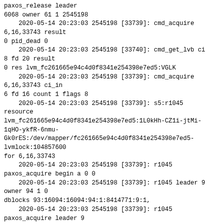paxos_release leader
6068 owner 61 1 2545198
    2020-05-14 20:23:03 2545198 [33739]: cmd_acquire
6,16,33743 result
0 pid_dead 0
    2020-05-14 20:23:03 2545198 [33740]: cmd_get_lvb ci
8 fd 20 result
0 res lvm_fc261665e94c4d0f8341e254398e7ed5:VGLK
    2020-05-14 20:23:03 2545198 [33739]: cmd_acquire
6,16,33743 ci_in
6 fd 16 count 1 flags 8
    2020-05-14 20:23:03 2545198 [33739]: s5:r1045
resource
lvm_fc261665e94c4d0f8341e254398e7ed5:1L0kHh-CZ1i-jtMi-
1qHO-ykfR-6nmu-
Gk0rES:/dev/mapper/fc261665e94c4d0f8341e254398e7ed5-
lvmlock:104857600
for 6,16,33743
    2020-05-14 20:23:03 2545198 [33739]: r1045
paxos_acquire begin a 0 0
    2020-05-14 20:23:03 2545198 [33739]: r1045 leader 9
owner 94 1 0
dblocks 93:16094:16094:94:1:8414771:9:1,
    2020-05-14 20:23:03 2545198 [33739]: r1045
paxos_acquire leader 9
owner 94 1 0 max mbal[93] 16094 our_dblock 0 0 0 0 0 0
    2020-05-14 20:23:03 2545198 [33739]: r1045
paxos_acquire leader 9 free
    2020-05-14 20:23:03 2545198 [33739]: r1045 ballot
10 phase1 write mbal 18061